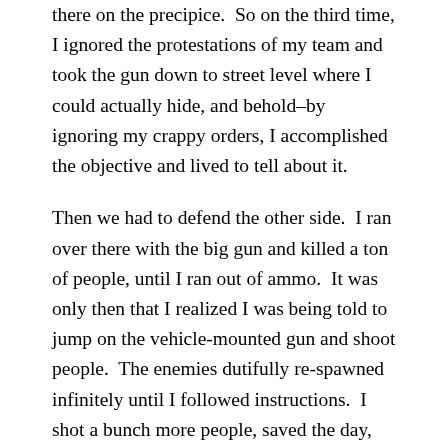there on the precipice.  So on the third time, I ignored the protestations of my team and took the gun down to street level where I could actually hide, and behold–by ignoring my crappy orders, I accomplished the objective and lived to tell about it.
Then we had to defend the other side.  I ran over there with the big gun and killed a ton of people, until I ran out of ammo.  It was only then that I realized I was being told to jump on the vehicle-mounted gun and shoot people.  The enemies dutifully re-spawned infinitely until I followed instructions.  I shot a bunch more people, saved the day, then a convenient earthquake hit and a building collapsed on me, dramatically concluding the second level.
The game continues from here, obviously, or it'd be a pretty disappointing campaign.  But I think I've covered the quirks for a fair review.  I enjoyed the game.  It had it's share of glitches, unclear objectives, obligatory irritating tank level, and some intrigue.  I did eventually find out what that thing I did that got